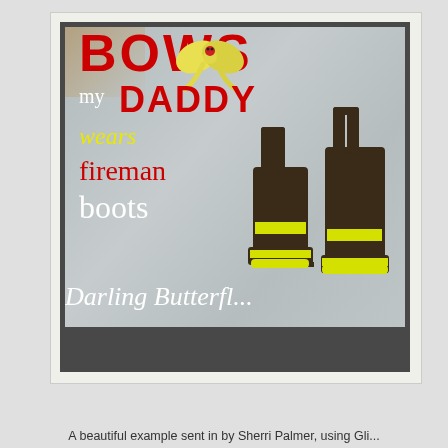[Figure (photo): A gray t-shirt with a vinyl design reading 'BOWS my DADDY wears fireman boots' with a yellow bow graphic and illustrated fireman boots in brown and yellow. Displayed in a dark frame with white matting. Below the shirt photo, cursive white text reads 'Darling Butterfl...' (partially cut off).]
A beautiful example sent in by Sherri Palmer, using Gli...